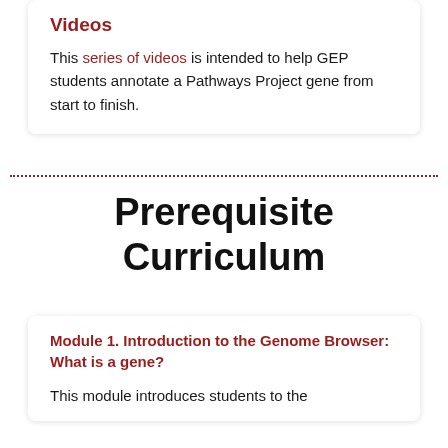Videos
This series of videos is intended to help GEP students annotate a Pathways Project gene from start to finish.
Prerequisite Curriculum
Module 1. Introduction to the Genome Browser: What is a gene?
This module introduces students to the